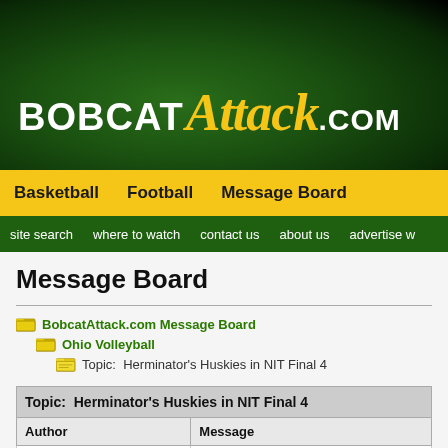[Figure (logo): BobcatAttack.com logo on dark green background]
BASKETBALL   FOOTBALL   MESSAGE BOARD
site search   where to watch   contact us   about us   advertise w...
Message Board
BobcatAttack.com Message Board > Ohio Volleyball > Topic: Herminator's Huskies in NIT Final 4
| Author | Message |
| --- | --- |
| stub
General User | Herminator's Huskies in NIT Final 4
Head coach Ellen Herman-Kimball's 24-10 (mos... |